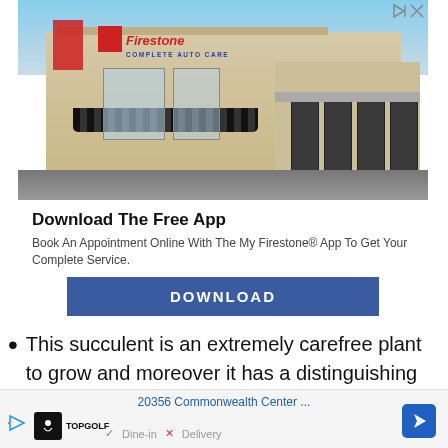[Figure (photo): Firestone Complete Auto Care store exterior with blue sky background, building signage, awning, and service bays]
Download The Free App
Book An Appointment Online With The My Firestone® App To Get Your Complete Service.
DOWNLOAD
Ad
This succulent is an extremely carefree plant to grow and moreover it has a distinguishing
[Figure (screenshot): Bottom navigation banner showing 20356 Commonwealth Center address, Topgolf logo, navigation arrow, Dine-in and Delivery options]